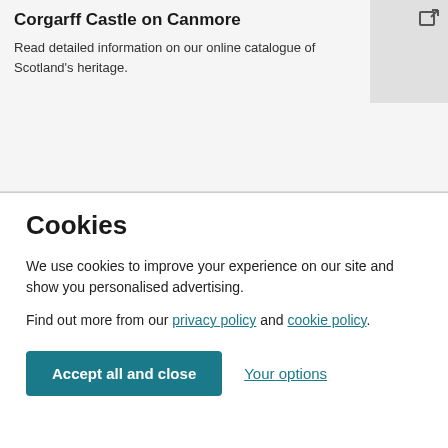Corgarff Castle on Canmore
Read detailed information on our online catalogue of Scotland's heritage.
Cookies
We use cookies to improve your experience on our site and show you personalised advertising.
Find out more from our privacy policy and cookie policy.
Accept all and close
Your options